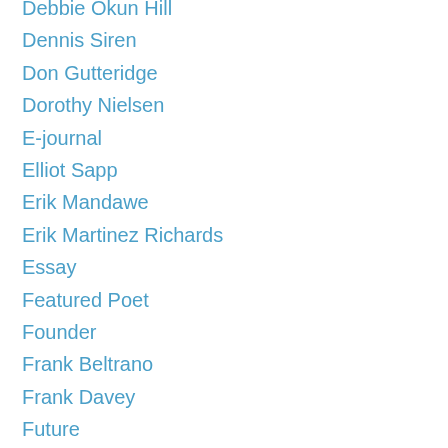Debbie Okun Hill
Dennis Siren
Don Gutteridge
Dorothy Nielsen
E-journal
Elliot Sapp
Erik Mandawe
Erik Martinez Richards
Essay
Featured Poet
Founder
Frank Beltrano
Frank Davey
Future
Gabe Foreman
Gary Barwin
Gloria Alvernaz Mulcahy
Guerrilla Poetry
High-school English Students
Indigenous
Internet Manager